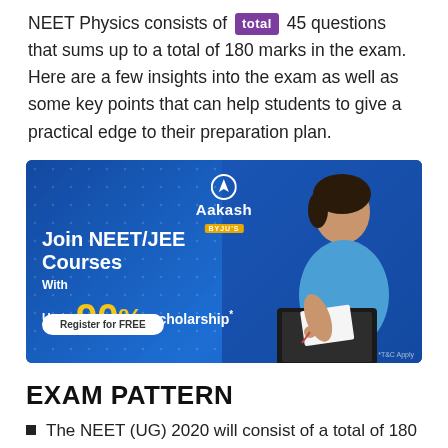NEET Physics consists of a total of 45 questions that sums up to a total of 180 marks in the exam. Here are a few insights into the exam as well as some key points that can help students to give a practical edge to their preparation plan.
[Figure (photo): Aakash BYJU'S advertisement banner for NEET/JEE Courses with Up to 90% Scholarship. Shows a student studying with a laptop. Register for FREE button.]
EXAM PATTERN
The NEET (UG) 2020 will consist of a total of 180 Multiple Choice Questions with four options and single